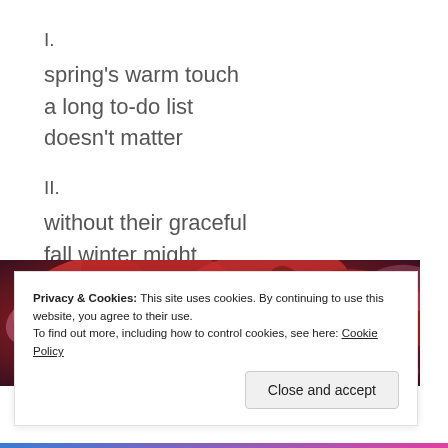I.
spring's warm touch
a long to-do list
doesn't matter
II.
without their graceful
fall winter might
miss its cue
[Figure (photo): Close-up photograph of large red rose-like flowers with layered petals in shades of red, pink, and purple.]
Privacy & Cookies: This site uses cookies. By continuing to use this website, you agree to their use.
To find out more, including how to control cookies, see here: Cookie Policy